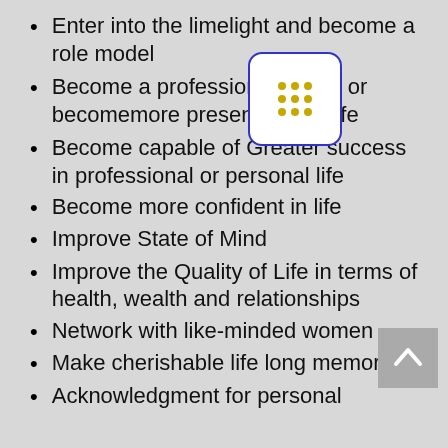Enter into the limelight and become a role model
Become a professional model or becomemore presentable in life
Become capable of Greater success in professional or personal life
Become more confident in life
Improve State of Mind
Improve the Quality of Life in terms of health, wealth and relationships
Network with like-minded women
Make cherishable life long memories
Acknowledgment for personal